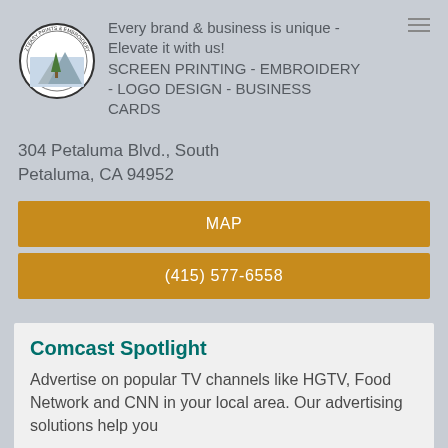[Figure (logo): Circular logo for a screen printing and embroidery business with mountain and tree imagery]
Every brand & business is unique - Elevate it with us! SCREEN PRINTING - EMBROIDERY - LOGO DESIGN - BUSINESS CARDS
304 Petaluma Blvd., South
Petaluma, CA 94952
MAP
(415) 577-6558
Comcast Spotlight
Advertise on popular TV channels like HGTV, Food Network and CNN in your local area. Our advertising solutions help you